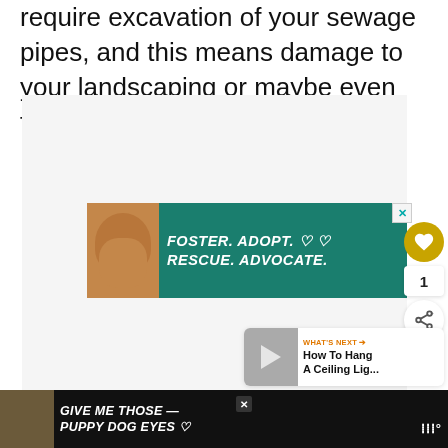require excavation of your sewage pipes, and this means damage to your landscaping or maybe even floors and walls.
[Figure (screenshot): Advertisement banner: teal/green background with dog photo on left and white bold italic text reading 'FOSTER. ADOPT. RESCUE. ADVOCATE.' with heart icons. Close button in top right corner.]
[Figure (infographic): Sidebar UI elements: gold circular heart/favorite button, count showing '1', and white circular share button with network icon.]
[Figure (screenshot): What's Next widget: thumbnail image of ceiling light, orange label 'WHAT'S NEXT' with arrow, and title text 'How To Hang A Ceiling Lig...']
[Figure (screenshot): Bottom advertisement bar on black background: dog photo on left, white bold italic text reading 'GIVE ME THOSE PUPPY DOG EYES' with heart icon decoration, close button, and Walmart logo (three dots icon with degree symbol) on right.]